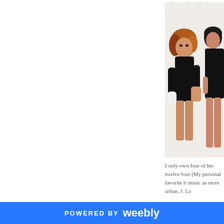culture where before she wo
[Figure (photo): Two women in black outfits posing against a white background; one has auburn hair and white gloves, the other is partially visible on the right]
I only own four of her twelve four (My personal favorite b music as more urban, J. Lo
[Figure (photo): Small photo of a woman against a red background; partial dark photo next to it]
POWERED BY weebly